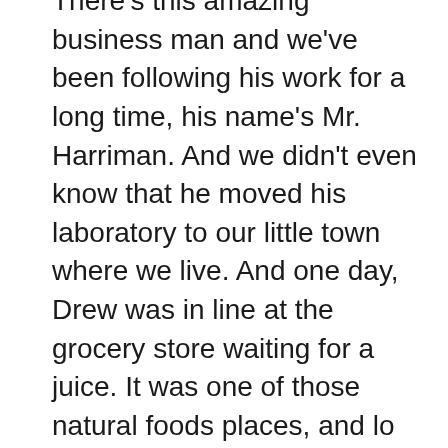There's this amazing business man and we've been following his work for a long time, his name's Mr. Harriman. And we didn't even know that he moved his laboratory to our little town where we live. And one day, Drew was in line at the grocery store waiting for a juice. It was one of those natural foods places, and lo and behold, this man was standing right behind him in line. And they actually had met before, so he recognized Drew, but it started somewhat of a friendship. So, yeah. It's pretty amazing how those things do work.